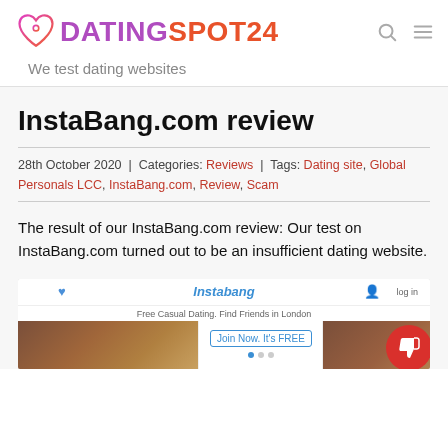DATINGSPOT24 — We test dating websites
InstaBang.com review
28th October 2020 | Categories: Reviews | Tags: Dating site, Global Personals LCC, InstaBang.com, Review, Scam
The result of our InstaBang.com review: Our test on InstaBang.com turned out to be an insufficient dating website.
[Figure (screenshot): Screenshot of InstaBang.com website homepage with a thumbs-down overlay icon. Shows the Instabang logo, 'Free Casual Dating, Find Friends in London' tagline, 'Join Now. It's FREE' button, and background photos.]